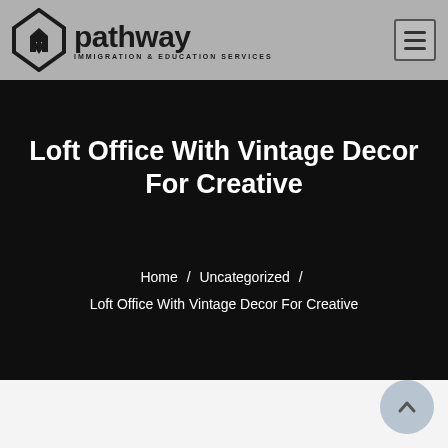pathway IMMIGRATION & EDUCATION SERVICES
Loft Office With Vintage Decor For Creative
Home / Uncategorized / Loft Office With Vintage Decor For Creative